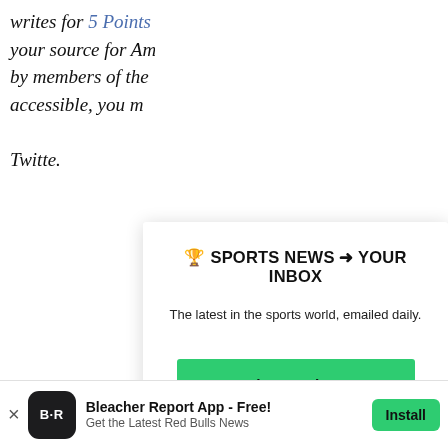writes for 5 Points Press and USSoccerPlayers.com; your source for American soccer news brought to you by members of the U.S. National Team. Easily accessible, you m... Twitte...
[Figure (infographic): Newsletter signup modal overlay with header '🏆 SPORTS NEWS ➜ YOUR INBOX', subtext 'The latest in the sports world, emailed daily.', a green Join Newsletter button, and a Maybe Later link]
B/R Rec...
[Figure (screenshot): Sports thumbnail image showing partial text 'oot' and 'ance' with a red and white sports image]
Bro... Wa...
[Figure (infographic): Bleacher Report app install banner at the bottom with app icon, title 'Bleacher Report App - Free!', subtitle 'Get the Latest Red Bulls News', and green Install button]